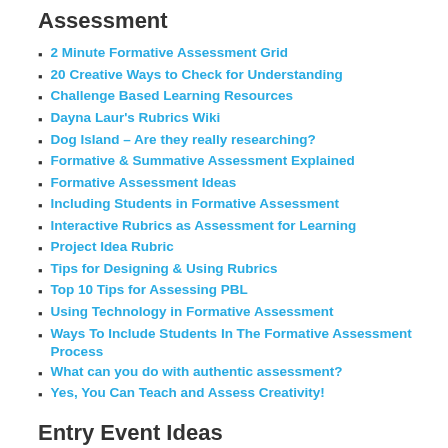Assessment
2 Minute Formative Assessment Grid
20 Creative Ways to Check for Understanding
Challenge Based Learning Resources
Dayna Laur's Rubrics Wiki
Dog Island – Are they really researching?
Formative & Summative Assessment Explained
Formative Assessment Ideas
Including Students in Formative Assessment
Interactive Rubrics as Assessment for Learning
Project Idea Rubric
Tips for Designing & Using Rubrics
Top 10 Tips for Assessing PBL
Using Technology in Formative Assessment
Ways To Include Students In The Formative Assessment Process
What can you do with authentic assessment?
Yes, You Can Teach and Assess Creativity!
Entry Event Ideas